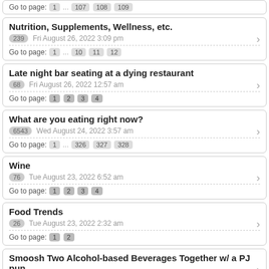Go to page: 1 ... 107 108 109
Nutrition, Supplements, Wellness, etc.
239 Fri August 26, 2022 3:09 pm
Go to page: 1 ... 10 11 12
Late night bar seating at a dying restaurant
68 Fri August 26, 2022 12:57 am
Go to page: 1 2 3 4
What are you eating right now?
6543 Wed August 24, 2022 3:57 am
Go to page: 1 ... 326 327 328
Wine
76 Tue August 23, 2022 6:52 am
Go to page: 1 2 3 4
Food Trends
26 Tue August 23, 2022 2:32 am
Go to page: 1 2
Smoosh Two Alcohol-based Beverages Together w/ a PJ pun
25 Mon August 22, 2022 2:21 am